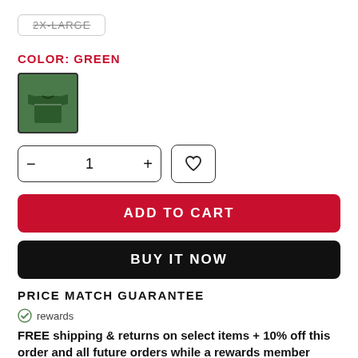2X-LARGE
COLOR: GREEN
[Figure (photo): Green soccer/football jersey thumbnail image with dark green color and white details]
[Figure (other): Quantity selector showing minus button, 1, plus button, and a wishlist heart button]
ADD TO CART
BUY IT NOW
PRICE MATCH GUARANTEE
rewards
FREE shipping & returns on select items + 10% off this order and all future orders while a rewards member